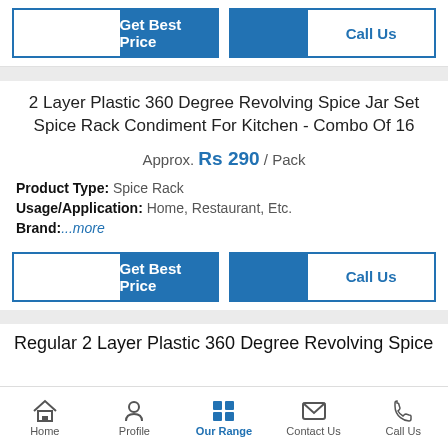[Figure (screenshot): Top button bar with 'Get Best Price' (blue button) and 'Call Us' (outlined button with blue text)]
2 Layer Plastic 360 Degree Revolving Spice Jar Set Spice Rack Condiment For Kitchen - Combo Of 16
Approx. Rs 290 / Pack
Product Type: Spice Rack
Usage/Application: Home, Restaurant, Etc.
Brand:...more
[Figure (screenshot): Second button bar with 'Get Best Price' (blue button) and 'Call Us' (outlined button with blue text)]
Regular 2 Layer Plastic 360 Degree Revolving Spice
Home   Profile   Our Range   Contact Us   Call Us